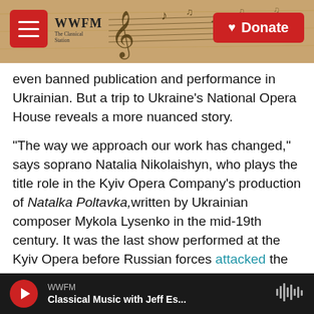WWFM The Classical Station — Donate
even banned publication and performance in Ukrainian. But a trip to Ukraine's National Opera House reveals a more nuanced story.
"The way we approach our work has changed," says soprano Natalia Nikolaishyn, who plays the title role in the Kyiv Opera Company's production of Natalka Poltavka, written by Ukrainian composer Mykola Lysenko in the mid-19th century. It was the last show performed at the Kyiv Opera before Russian forces attacked the city in late February.
In late May, the opera quietly re-opened with
WWFM — Classical Music with Jeff Es...